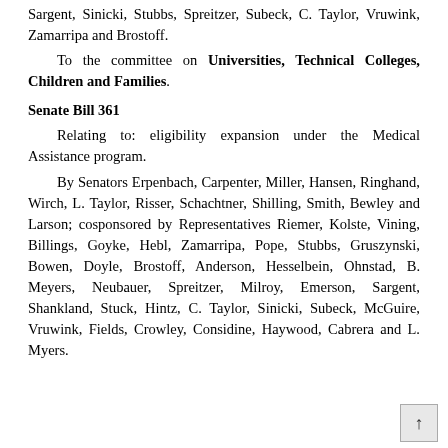Sargent, Sinicki, Stubbs, Spreitzer, Subeck, C. Taylor, Vruwink, Zamarripa and Brostoff.
To the committee on Universities, Technical Colleges, Children and Families.
Senate Bill 361
Relating to: eligibility expansion under the Medical Assistance program.
By Senators Erpenbach, Carpenter, Miller, Hansen, Ringhand, Wirch, L. Taylor, Risser, Schachtner, Shilling, Smith, Bewley and Larson; cosponsored by Representatives Riemer, Kolste, Vining, Billings, Goyke, Hebl, Zamarripa, Pope, Stubbs, Gruszynski, Bowen, Doyle, Brostoff, Anderson, Hesselbein, Ohnstad, B. Meyers, Neubauer, Spreitzer, Milroy, Emerson, Sargent, Shankland, Stuck, Hintz, C. Taylor, Sinicki, Subeck, McGuire, Vruwink, Fields, Crowley, Considine, Haywood, Cabrera and L. Myers.